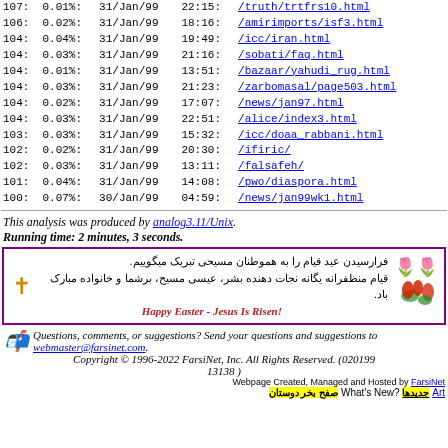| Count | Percent | Date | Time | URL |
| --- | --- | --- | --- | --- |
| 107: | 0.01%: | 31/Jan/99 | 22:15: | /truth/trtfrs10.html |
| 106: | 0.02%: | 31/Jan/99 | 18:16: | /amirimports/isf3.html |
| 104: | 0.04%: | 31/Jan/99 | 19:49: | /icc/iran.html |
| 104: | 0.03%: | 31/Jan/99 | 21:16: | /sobati/faq.html |
| 104: | 0.01%: | 31/Jan/99 | 13:51: | /bazaar/yahudi_rug.html |
| 104: | 0.03%: | 31/Jan/99 | 21:23: | /zarbomasal/page503.html |
| 104: | 0.02%: | 31/Jan/99 | 17:07: | /news/jan97.html |
| 104: | 0.03%: | 31/Jan/99 | 22:51: | /alice/index3.html |
| 103: | 0.03%: | 31/Jan/99 | 15:32: | /icc/doaa_rabbani.html |
| 102: | 0.02%: | 31/Jan/99 | 20:30: | /ifiric/ |
| 102: | 0.03%: | 31/Jan/99 | 13:11: | /falsafeh/ |
| 101: | 0.04%: | 31/Jan/99 | 14:08: | /pwo/diaspora.html |
| 100: | 0.07%: | 30/Jan/99 | 04:59: | /news/jan99wk1.html |
This analysis was produced by analog3.11/Unix. Running time: 2 minutes, 3 seconds.
[Figure (illustration): Easter greeting box in Persian with tulip flowers and a gold cross, with text wishing Christians a happy Easter. Includes 'Happy Easter - Jesus Is Risen!' in red italic.]
Questions, comments, or suggestions? Send your questions and suggestions to webmaster@farsinet.com. Copyright © 1996-2022 FarsiNet, Inc. All Rights Reserved. (02019913138)
Webpage Created, Managed and Hosted by FarsiNet  What's New?